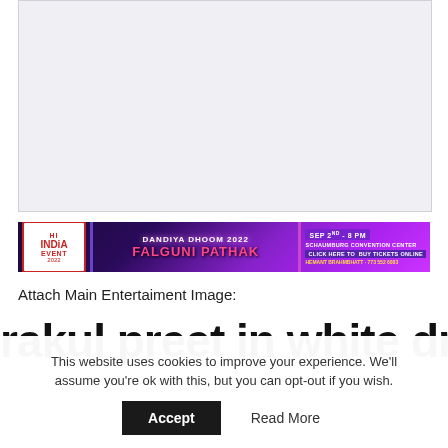[Figure (other): Gray placeholder advertisement area]
[Figure (other): Dandiya Dhoom 2022 Falguni Pathak event banner. SEP 2nd - 8 PM. Schaumburg Convention Center. Click here to Buy Tickets Online. Hemant Brahmbhatt 773 552 6083. HI India Event 2022 logo.]
Attach Main Entertaiment Image:
rakul preet in white dress .jpg
This website uses cookies to improve your experience. We'll assume you're ok with this, but you can opt-out if you wish.
Accept
Read More